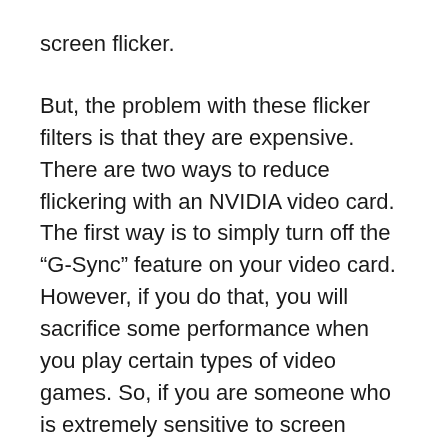screen flicker.
But, the problem with these flicker filters is that they are expensive. There are two ways to reduce flickering with an NVIDIA video card. The first way is to simply turn off the “G-Sync” feature on your video card. However, if you do that, you will sacrifice some performance when you play certain types of video games. So, if you are someone who is extremely sensitive to screen flicker, then you should definitely turn off FreeSync.
But, for those of you who are less sensitive to screen flicker, there is another solution: use a